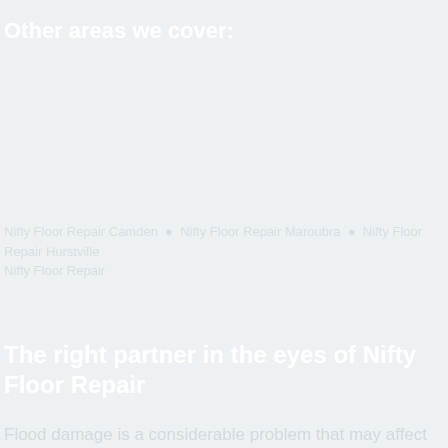Other areas we cover:
Nifty Floor Repair Camden • Nifty Floor Repair Maroubra
Nifty Floor Repair
The right partner in the eyes of Nifty Floor Repair
Flood damage is a considerable problem that may affect anyone, anytime. Considering this, it is essential to have a trustworthy partner to support you who can always react using at short notice and prompt solutions. Our floor repair technicians are